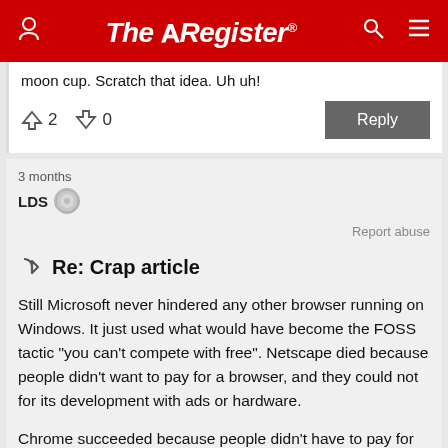The Register
moon cup. Scratch that idea. Uh uh!
↑2  ↓0
Reply
3 months
LDS
Report abuse
Re: Crap article
Still Microsoft never hindered any other browser running on Windows. It just used what would have become the FOSS tactic "you can't compete with free". Netscape died because people didn't want to pay for a browser, and they could not for its development with ads or hardware.
Chrome succeeded because people didn't have to pay for it.